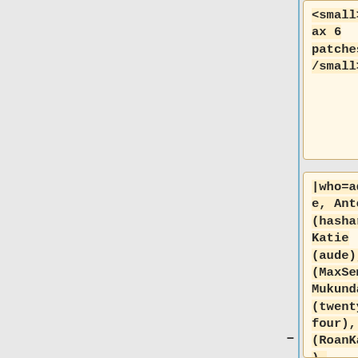<small>'''(Max 6 patches)'''</small>
|who=addshore, Antoine (hashar), Katie (aude), Max (MaxSem), Mukunda (twentyafterfour), Roan (RoanKattouw), Sébastien (Dereckson), Tyler (thcipriani), Niharika (Niharika),